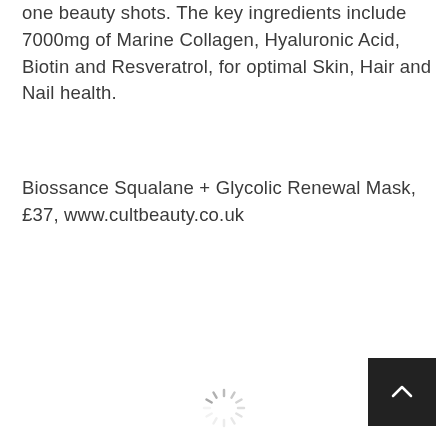one beauty shots. The key ingredients include 7000mg of Marine Collagen, Hyaluronic Acid, Biotin and Resveratrol, for optimal Skin, Hair and Nail health.
Biossance Squalane + Glycolic Renewal Mask, £37, www.cultbeauty.co.uk